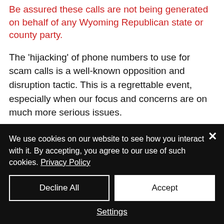Be assured these calls are not being generated on behalf of any Wyoming Republican state or county party.
The 'hijacking' of phone numbers to use for scam calls is a well-known opposition and disruption tactic. This is a regrettable event, especially when our focus and concerns are on much more serious issues.
We use cookies on our website to see how you interact with it. By accepting, you agree to our use of such cookies. Privacy Policy
Decline All
Accept
Settings